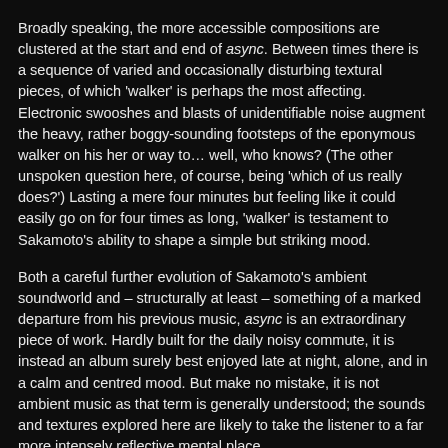Broadly speaking, the more accessible compositions are clustered at the start and end of async. Between times there is a sequence of varied and occasionally disturbing textural pieces, of which 'walker' is perhaps the most affecting. Electronic swooshes and blasts of unidentifiable noise augment the heavy, rather boggy-sounding footsteps of the eponymous walker on his her or way to… well, who knows? (The other unspoken question here, of course, being 'which of us really does?') Lasting a mere four minutes but feeling like it could easily go on for four times as long, 'walker' is testament to Sakamoto's ability to shape a simple but striking mood.
Both a careful further evolution of Sakamoto's ambient soundworld and – structurally at least – something of a marked departure from his previous music, async is an extraordinary piece of work. Hardly built for the daily noisy commute, it is instead an album surely best enjoyed late at night, alone, and in a calm and centred mood. But make no mistake, it is not ambient music as that term is generally understood; the sounds and textures explored here are likely to take the listener to a far more intensely reflective mental place.